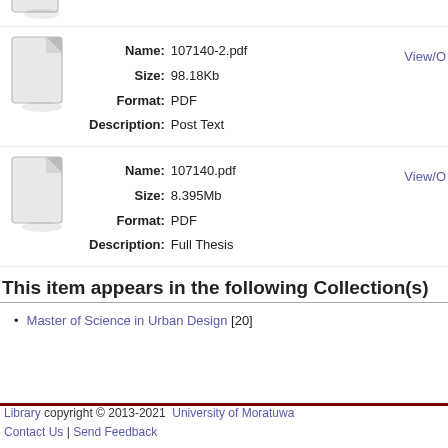[Figure (illustration): Partial document file icon at top of page (cropped)]
Name: 107140-2.pdf
Size: 98.18Kb
Format: PDF
Description: Post Text
View/O
[Figure (illustration): Document file icon for 107140.pdf]
Name: 107140.pdf
Size: 8.395Mb
Format: PDF
Description: Full Thesis
View/O
This item appears in the following Collection(s)
Master of Science in Urban Design [20]
Library copyright © 2013-2021  University of Moratuwa
Contact Us | Send Feedback